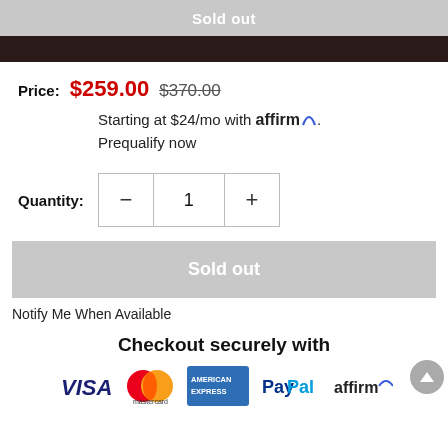Sold out
Price: $259.00  $370.00
Starting at $24/mo with affirm.
Prequalify now
Quantity: 1
Sold out
Notify Me When Available
Checkout securely with
[Figure (logo): Payment logos: VISA, mastercard, AMERICAN EXPRESS, PayPal, affirm]